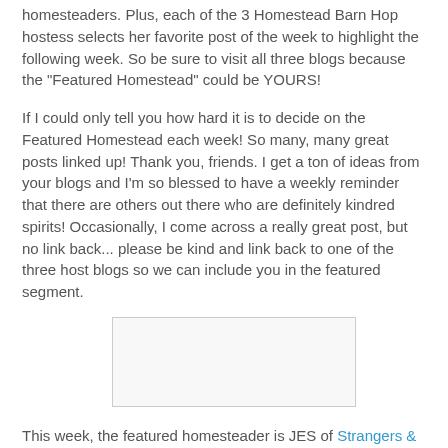homesteaders. Plus, each of the 3 Homestead Barn Hop hostess selects her favorite post of the week to highlight the following week. So be sure to visit all three blogs because the "Featured Homestead" could be YOURS!
If I could only tell you how hard it is to decide on the Featured Homestead each week! So many, many great posts linked up! Thank you, friends. I get a ton of ideas from your blogs and I'm so blessed to have a weekly reminder that there are others out there who are definitely kindred spirits! Occasionally, I come across a really great post, but no link back... please be kind and link back to one of the three host blogs so we can include you in the featured segment.
[Figure (other): A rectangular image placeholder with a light gray border and white/light background.]
This week, the featured homesteader is JES of Strangers & Pilgrims on Earth.